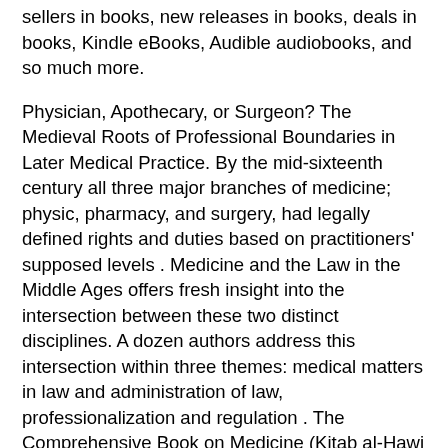sellers in books, new releases in books, deals in books, Kindle eBooks, Audible audiobooks, and so much more.
Physician, Apothecary, or Surgeon? The Medieval Roots of Professional Boundaries in Later Medical Practice. By the mid-sixteenth century all three major branches of medicine; physic, pharmacy, and surgery, had legally defined rights and duties based on practitioners' supposed levels . Medicine and the Law in the Middle Ages offers fresh insight into the intersection between these two distinct disciplines. A dozen authors address this intersection within three themes: medical matters in law and administration of law, professionalization and regulation . The Comprehensive Book on Medicine (Kitab al-Hawi fi al-tibb) was written in Arabic by Abu Bakr al-Razi (/ H). This copy of the section on gastrointestinal disease was completed on November. - Download free surgery books in pdf. See more ideas about Surgery, Books and Textbook pins.